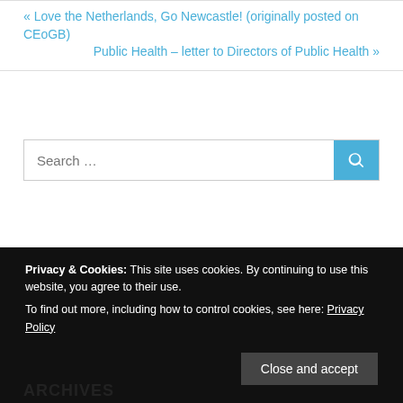« Love the Netherlands, Go Newcastle! (originally posted on CEoGB)
Public Health – letter to Directors of Public Health »
Search …
Privacy & Cookies: This site uses cookies. By continuing to use this website, you agree to their use. To find out more, including how to control cookies, see here: Privacy Policy
Close and accept
ARCHIVES